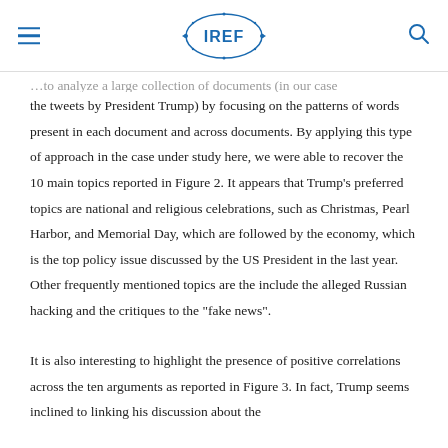IREF
the tweets by President Trump) by focusing on the patterns of words present in each document and across documents. By applying this type of approach in the case under study here, we were able to recover the 10 main topics reported in Figure 2. It appears that Trump’s preferred topics are national and religious celebrations, such as Christmas, Pearl Harbor, and Memorial Day, which are followed by the economy, which is the top policy issue discussed by the US President in the last year. Other frequently mentioned topics are the include the alleged Russian hacking and the critiques to the “fake news”.
It is also interesting to highlight the presence of positive correlations across the ten arguments as reported in Figure 3. In fact, Trump seems inclined to linking his discussion about the